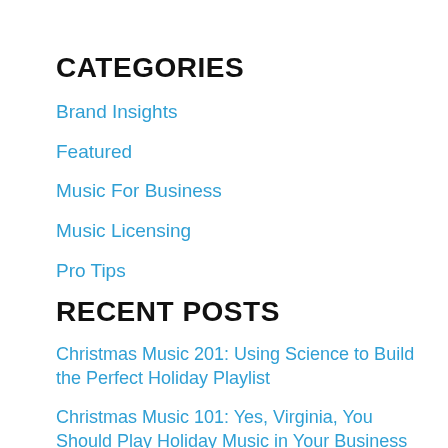CATEGORIES
Brand Insights
Featured
Music For Business
Music Licensing
Pro Tips
RECENT POSTS
Christmas Music 201: Using Science to Build the Perfect Holiday Playlist
Christmas Music 101: Yes, Virginia, You Should Play Holiday Music in Your Business
Music Strategies for Restaurants
Answers to Your Questions About Switching to